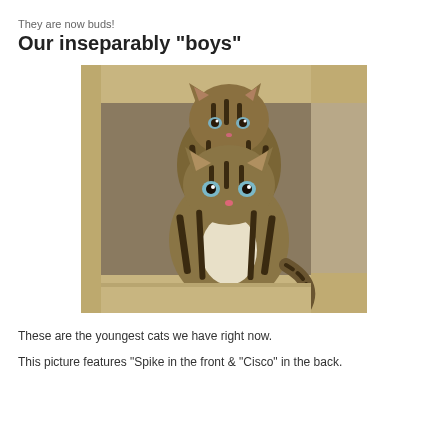They are now buds!
Our inseparably "boys"
[Figure (photo): Two tabby kittens stacked on a cream-colored cat tree. The front kitten sits lower with white chest visible; the back kitten peeks over from behind. Both have blue eyes and striped tabby markings.]
These are the youngest cats we have right now.
This picture features "Spike in the front & "Cisco" in the back.